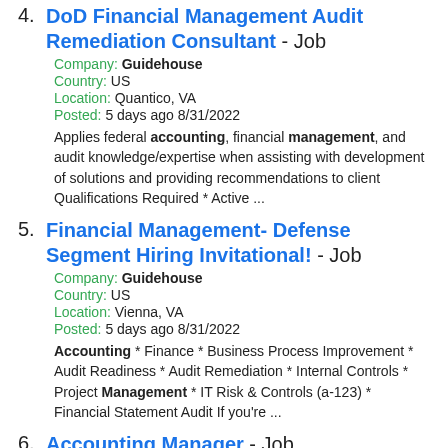4. DoD Financial Management Audit Remediation Consultant - Job
Company: Guidehouse
Country: US
Location: Quantico, VA
Posted: 5 days ago 8/31/2022
Applies federal accounting, financial management, and audit knowledge/expertise when assisting with development of solutions and providing recommendations to client Qualifications Required * Active ...
5. Financial Management- Defense Segment Hiring Invitational! - Job
Company: Guidehouse
Country: US
Location: Vienna, VA
Posted: 5 days ago 8/31/2022
Accounting * Finance * Business Process Improvement * Audit Readiness * Audit Remediation * Internal Controls * Project Management * IT Risk & Controls (a-123) * Financial Statement Audit If you're ...
6. Accounting Manager - Job
Company: OtterBase